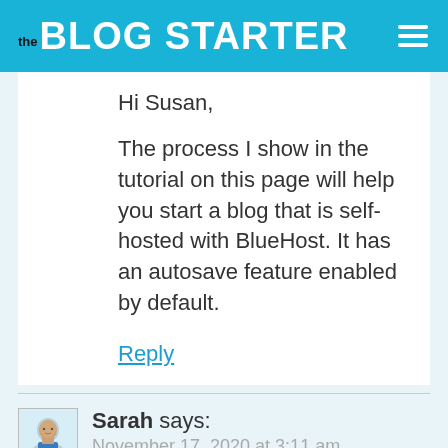the BLOG STARTER
Hi Susan,
The process I show in the tutorial on this page will help you start a blog that is self-hosted with BlueHost. It has an autosave feature enabled by default.
Reply
Sarah says:
November 17, 2020 at 3:11 am